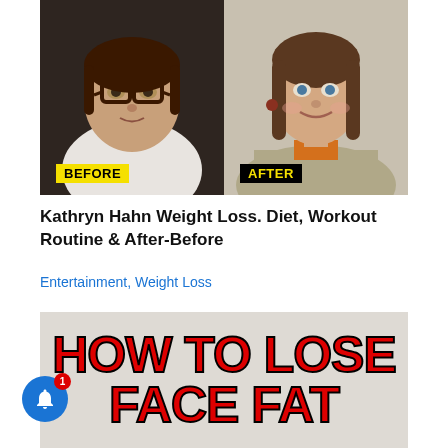[Figure (photo): Before and after comparison photo of Kathryn Hahn. Left side shows 'BEFORE' label on yellow background with darker image; right side shows 'AFTER' label on black background with brighter image.]
Kathryn Hahn Weight Loss. Diet, Workout Routine & After-Before
Entertainment, Weight Loss
[Figure (infographic): Graphic with large red bold text reading 'HOW TO LOSE FACE FAT' on a light gray background.]